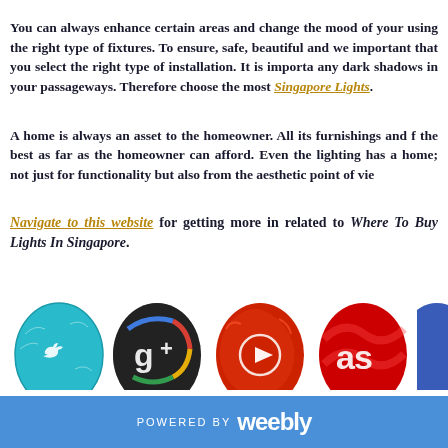You can always enhance certain areas and change the mood of your using the right type of fixtures. To ensure, safe, beautiful and we important that you select the right type of installation. It is importa any dark shadows in your passageways. Therefore choose the most Singapore Lights.
A home is always an asset to the homeowner. All its furnishings and f the best as far as the homeowner can afford. Even the lighting has a home; not just for functionality but also from the aesthetic point of vie
Navigate to this website for getting more in related to Where To Buy Lights In Singapore.
[Figure (illustration): Four decorative Easter eggs styled as social media icons: Twitter (teal), Google+ (dark with colorful G+), YouTube (red with play button), Last.fm (red with 'as' logo), and partially visible fifth egg]
POWERED BY weebly